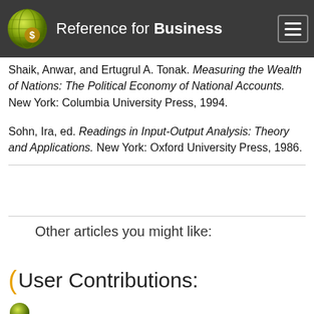Reference for Business
Leontief, Wassily. Input-Output Economics. 2nd ed. New York: Oxford University Press, 1986.
Shaik, Anwar, and Ertugrul A. Tonak. Measuring the Wealth of Nations: The Political Economy of National Accounts. New York: Columbia University Press, 1994.
Sohn, Ira, ed. Readings in Input-Output Analysis: Theory and Applications. New York: Oxford University Press, 1986.
Other articles you might like:
User Contributions: